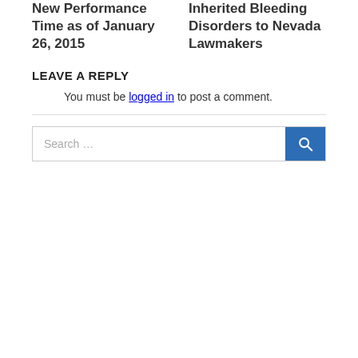New Performance Time as of January 26, 2015
Inherited Bleeding Disorders to Nevada Lawmakers
LEAVE A REPLY
You must be logged in to post a comment.
[Figure (other): Search bar with text input placeholder 'Search ...' and a blue search button with magnifying glass icon]